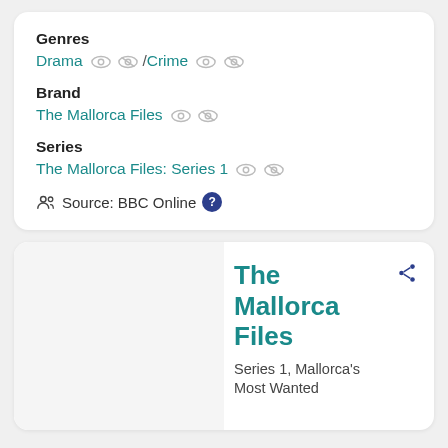Genres
Drama / Crime
Brand
The Mallorca Files
Series
The Mallorca Files: Series 1
Source: BBC Online
The Mallorca Files
Series 1, Mallorca's Most Wanted